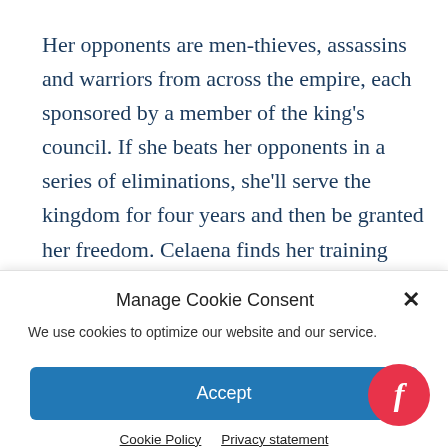Her opponents are men-thieves, assassins and warriors from across the empire, each sponsored by a member of the king's council. If she beats her opponents in a series of eliminations, she'll serve the kingdom for four years and then be granted her freedom. Celaena finds her training sessions with the
Manage Cookie Consent
We use cookies to optimize our website and our service.
Accept
Cookie Policy   Privacy statement